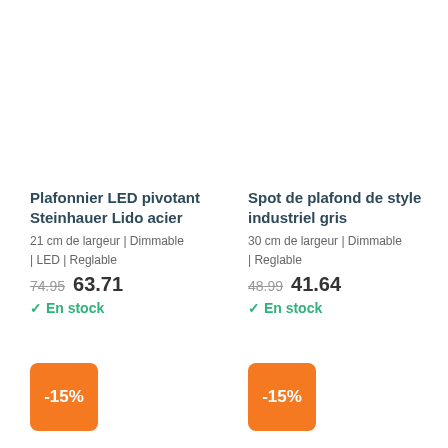Plafonnier LED pivotant Steinhauer Lido acier
21 cm de largeur | Dimmable | LED | Reglable
74.95  63.71
✓ En stock
Spot de plafond de style industriel gris
30 cm de largeur | Dimmable | Reglable
48.99  41.64
✓ En stock
-15%
-15%